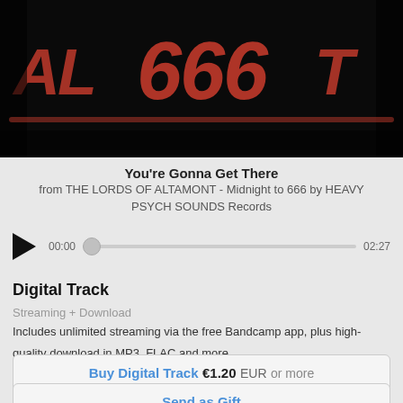[Figure (photo): Album art for Midnight to 666 by THE LORDS OF ALTAMONT, showing stylized red retro typography on a black background]
You're Gonna Get There
from THE LORDS OF ALTAMONT - Midnight to 666 by HEAVY PSYCH SOUNDS Records
[Figure (other): Audio player with play button, scrubber showing 00:00 to 02:27]
Digital Track
Streaming + Download
Includes unlimited streaming via the free Bandcamp app, plus high-quality download in MP3, FLAC and more.
Buy Digital Track €1.20 EUR or more
Send as Gift